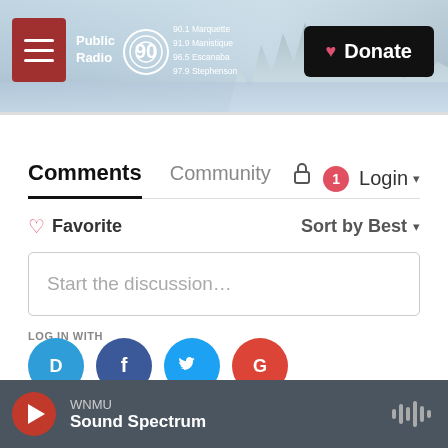[Figure (screenshot): Public Radio 90 WNMU website header banner with misty forest/lake background, menu hamburger button, logo, frequency information (90.1 Marquette, 91.9 Manistique, 96.5 Escanaba, 97.9 Stephenson), and a Donate button]
Comments	Community	🔒	1	Login ▾
♡ Favorite	Sort by Best ▾
Start the discussion…
LOG IN WITH
[Figure (logo): Social login icons: Disqus (D, blue), Facebook (f, dark blue), Twitter (bird, light blue), Google (G, red)]
OR SIGN UP WITH DISQUS ?
WNMU
Sound Spectrum